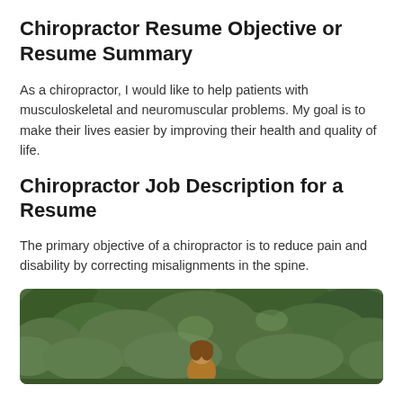Chiropractor Resume Objective or Resume Summary
As a chiropractor, I would like to help patients with musculoskeletal and neuromuscular problems. My goal is to make their lives easier by improving their health and quality of life.
Chiropractor Job Description for a Resume
The primary objective of a chiropractor is to reduce pain and disability by correcting misalignments in the spine.
[Figure (photo): Person sitting outdoors in a lush green forest setting, viewed from behind]